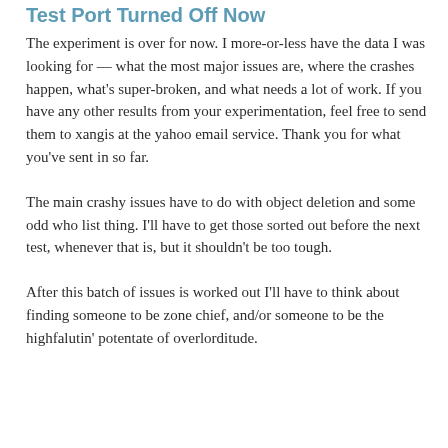Test Port Turned Off Now
The experiment is over for now. I more-or-less have the data I was looking for — what the most major issues are, where the crashes happen, what's super-broken, and what needs a lot of work.  If you have any other results from your experimentation, feel free to send them to xangis at the yahoo email service.  Thank you for what you've sent in so far.
The main crashy issues have to do with object deletion and some odd who list thing.  I'll have to get those sorted out before the next test, whenever that is, but it shouldn't be too tough.
After this batch of issues is worked out I'll have to think about finding someone to be zone chief, and/or someone to be the highfalutin' potentate of overlorditude.